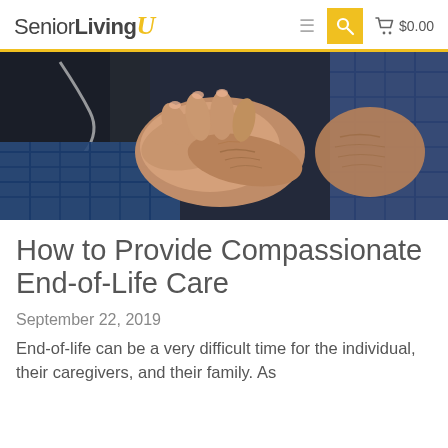SeniorLivingU  ≡  🔍  🛒 $0.00
[Figure (photo): Close-up photo of a healthcare professional (wearing dark scrubs and stethoscope) holding the hands of an elderly person, with a blue plaid blanket visible. Warm, compassionate scene.]
How to Provide Compassionate End-of-Life Care
September 22, 2019
End-of-life can be a very difficult time for the individual, their caregivers, and their family. As